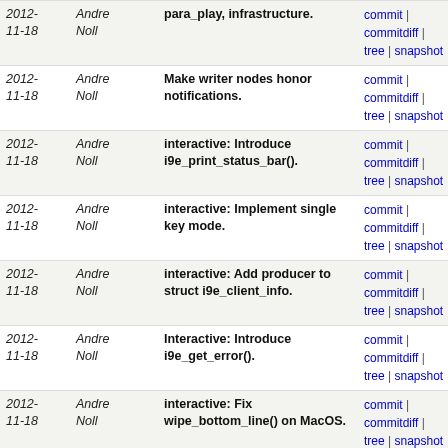| Date | Author | Commit message | Links |
| --- | --- | --- | --- |
| 2012-11-18 | Andre Noll | para_play, infrastructure. | commit | commitdiff | tree | snapshot |
| 2012-11-18 | Andre Noll | Make writer nodes honor notifications. | commit | commitdiff | tree | snapshot |
| 2012-11-18 | Andre Noll | interactive: Introduce i9e_print_status_bar(). | commit | commitdiff | tree | snapshot |
| 2012-11-18 | Andre Noll | interactive: Implement single key mode. | commit | commitdiff | tree | snapshot |
| 2012-11-18 | Andre Noll | interactive: Add producer to struct i9e_client_info. | commit | commitdiff | tree | snapshot |
| 2012-11-18 | Andre Noll | Interactive: Introduce i9e_get_error(). | commit | commitdiff | tree | snapshot |
| 2012-11-18 | Andre Noll | interactive: Fix wipe_bottom_line() on MacOS. | commit | commitdiff | tree | snapshot |
| 2012-11-18 | Andre Noll | interactive: Honor SIGWINCH. | commit | commitdiff | tree | snapshot |
| 2012-11-18 | Andre Noll | interactive: Honor SIGTERM. | commit | commitdiff | tree | snapshot |
| 2012-11-18 | Andre Noll | para_afh: remove streaming mode. | commit | commitdiff | tree | snapshot |
| 2012-11-18 | Andre Noll | The afh receiver, documentation. | commit | commitdiff | tree | snapshot |
| 2012-11-18 | Andre Noll | The afh receiver, implementation. | commit | commitdiff | tree | snapshot |
| 2012-11-18 | Andre Noll | The afh_receiver, infrastructure. | commit | commitdiff | tree | snapshot |